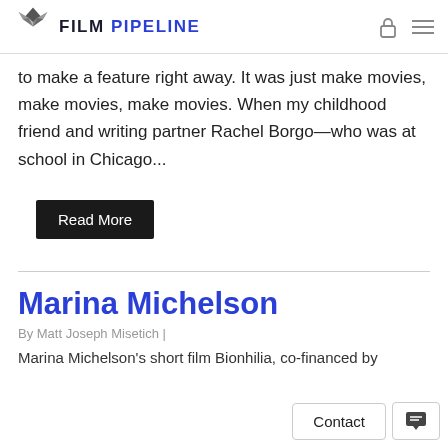FILM PIPELINE
to make a feature right away. It was just make movies, make movies, make movies. When my childhood friend and writing partner Rachel Borgo—who was at school in Chicago...
Read More
Marina Michelson
By Matt Joseph Misetich  |
Marina Michelson's short film Bionhilia, co-financed by